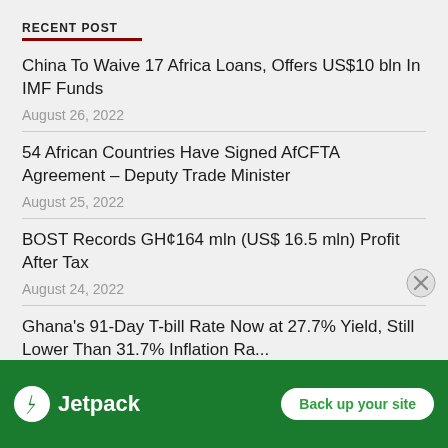RECENT POST
China To Waive 17 Africa Loans, Offers US$10 bln In IMF Funds
August 26, 2022
54 African Countries Have Signed AfCFTA Agreement – Deputy Trade Minister
August 25, 2022
BOST Records GH¢164 mln (US$ 16.5 mln) Profit After Tax
August 24, 2022
Ghana's 91-Day T-bill Rate Now at 27.7% Yield, Still Lower Than 31.7% Inflation Rate
[Figure (infographic): Jetpack advertisement banner with green background, Jetpack logo and 'Back up your site' button]